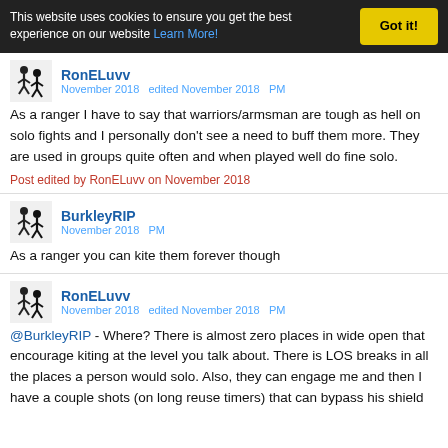This website uses cookies to ensure you get the best experience on our website Learn More! Got it!
RonELuvv
November 2018   edited November 2018   PM
As a ranger I have to say that warriors/armsman are tough as hell on solo fights and I personally don't see a need to buff them more. They are used in groups quite often and when played well do fine solo.
Post edited by RonELuvv on November 2018
BurkleyRIP
November 2018   PM
As a ranger you can kite them forever though
RonELuvv
November 2018   edited November 2018   PM
@BurkleyRIP - Where? There is almost zero places in wide open that encourage kiting at the level you talk about. There is LOS breaks in all the places a person would solo. Also, they can engage me and then I have a couple shots (on long reuse timers) that can bypass his shield